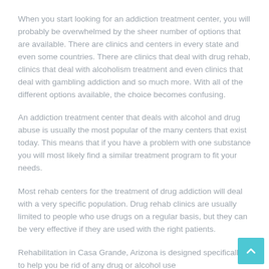When you start looking for an addiction treatment center, you will probably be overwhelmed by the sheer number of options that are available. There are clinics and centers in every state and even some countries. There are clinics that deal with drug rehab, clinics that deal with alcoholism treatment and even clinics that deal with gambling addiction and so much more. With all of the different options available, the choice becomes confusing.
An addiction treatment center that deals with alcohol and drug abuse is usually the most popular of the many centers that exist today. This means that if you have a problem with one substance you will most likely find a similar treatment program to fit your needs.
Most rehab centers for the treatment of drug addiction will deal with a very specific population. Drug rehab clinics are usually limited to people who use drugs on a regular basis, but they can be very effective if they are used with the right patients.
Rehabilitation in Casa Grande, Arizona is designed specifically to help you be rid of any drug or alcohol use...